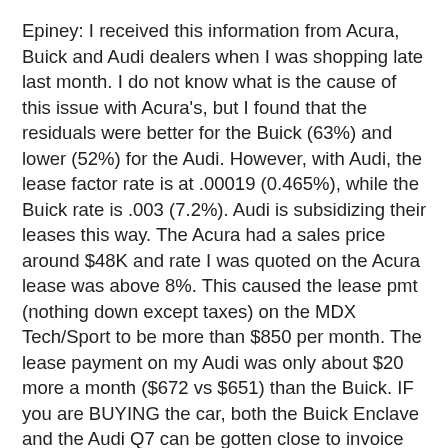Epiney: I received this information from Acura, Buick and Audi dealers when I was shopping late last month. I do not know what is the cause of this issue with Acura's, but I found that the residuals were better for the Buick (63%) and lower (52%) for the Audi. However, with Audi, the lease factor rate is at .00019 (0.465%), while the Buick rate is .003 (7.2%). Audi is subsidizing their leases this way. The Acura had a sales price around $48K and rate I was quoted on the Acura lease was above 8%. This caused the lease pmt (nothing down except taxes) on the MDX Tech/Sport to be more than $850 per month. The lease payment on my Audi was only about $20 more a month ($672 vs $651) than the Buick. IF you are BUYING the car, both the Buick Enclave and the Audi Q7 can be gotten close to invoice prices, if not less. However, the Buick is the best deal about $40K (CXL AWD loaded) at invoice, compared to the the Audi at about $53K. If you are leasing, however, the monthly price difference is quite small, due to the VERY low rate on the lease. Since there is no history yet for the GM Midsize SUV's, I believe GM is setting the residuals for the Enclave high, in anticipation. Several dealers quoted me the 63% residual rate at 3 years, with 12K miles per